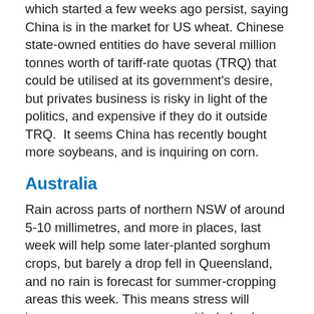which started a few weeks ago persist, saying China is in the market for US wheat. Chinese state-owned entities do have several million tonnes worth of tariff-rate quotas (TRQ) that could be utilised at its government's desire, but privates business is risky in light of the politics, and expensive if they do it outside TRQ.  It seems China has recently bought more soybeans, and is inquiring on corn.
Australia
Rain across parts of northern NSW of around 5-10 millimetres, and more in places, last week will help some later-planted sorghum crops, but barely a drop fell in Queensland, and no rain is forecast for summer-cropping areas this week. This means stress will increase on summer crops, with dryland cotton and later sorghum feeling the heat.